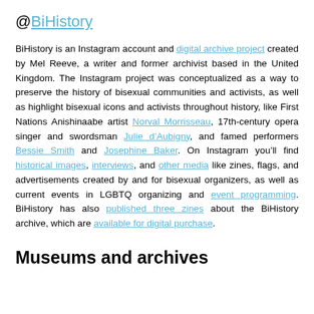@BiHistory
BiHistory is an Instagram account and digital archive project created by Mel Reeve, a writer and former archivist based in the United Kingdom. The Instagram project was conceptualized as a way to preserve the history of bisexual communities and activists, as well as highlight bisexual icons and activists throughout history, like First Nations Anishinaabe artist Norval Morrisseau, 17th-century opera singer and swordsman Julie d’Aubigny, and famed performers Bessie Smith and Josephine Baker. On Instagram you’ll find historical images, interviews, and other media like zines, flags, and advertisements created by and for bisexual organizers, as well as current events in LGBTQ organizing and event programming. BiHistory has also published three zines about the BiHistory archive, which are available for digital purchase.
Museums and archives